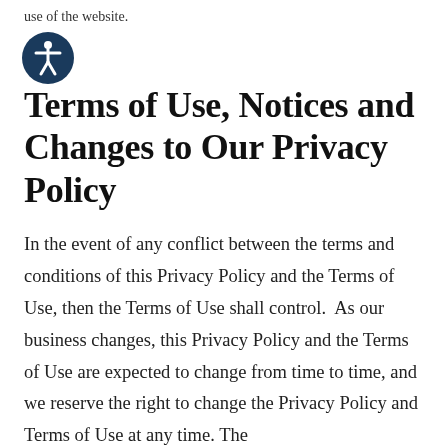[Figure (logo): Accessibility icon — circular dark blue badge with a white figure person with outstretched arms (universal accessibility symbol)]
Terms of Use, Notices and Changes to Our Privacy Policy
In the event of any conflict between the terms and conditions of this Privacy Policy and the Terms of Use, then the Terms of Use shall control.  As our business changes, this Privacy Policy and the Terms of Use are expected to change from time to time, and we reserve the right to change the Privacy Policy and Terms of Use at any time. The